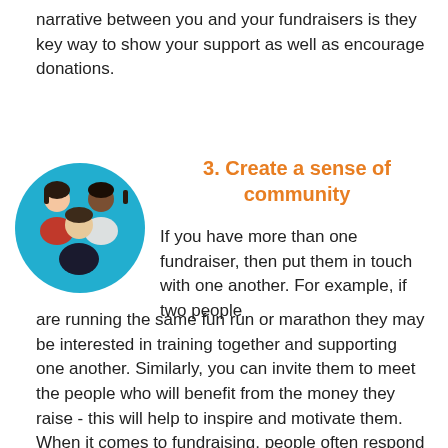narrative between you and your fundraisers is they key way to show your support as well as encourage donations.
[Figure (illustration): A circular teal/blue icon showing three stylized people figures representing a community group]
3. Create a sense of community
If you have more than one fundraiser, then put them in touch with one another. For example, if two people are running the same fun run or marathon they may be interested in training together and supporting one another. Similarly, you can invite them to meet the people who will benefit from the money they raise - this will help to inspire and motivate them. When it comes to fundraising, people often respond better to group activities. By bringing your fundraisers together you can inspire a sense of solidarity for your cause - this is also